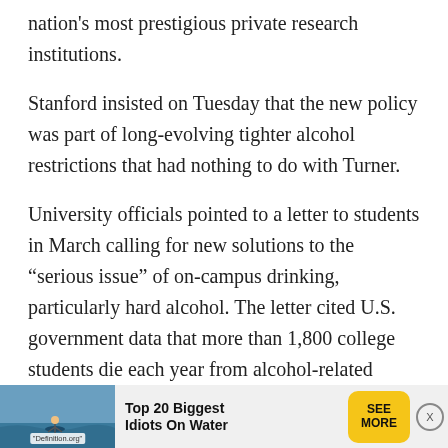nation's most prestigious private research institutions.
Stanford insisted on Tuesday that the new policy was part of long-evolving tighter alcohol restrictions that had nothing to do with Turner.
University officials pointed to a letter to students in March calling for new solutions to the “serious issue” of on-campus drinking, particularly hard alcohol. The letter cited U.S. government data that more than 1,800 college students die each year from alcohol-related incidents and nearly 100,000 fall victim to sexual violence associated with alcohol.
[Figure (other): Advertisement banner: 'Top 20 Biggest Idiots On Water' with a yellow 'SEE MORE' button and a small water activity photo with 'Definition.org' label.]